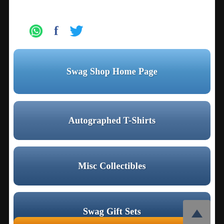[Figure (screenshot): Social share icons row: WhatsApp (green), Facebook (blue f), Twitter (blue bird)]
Swag Shop Home Page
Autographed T-Shirts
Misc Collectibles
Swag Gift Sets
Autographed Novels